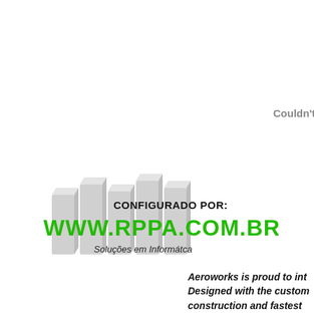[Figure (logo): RPPA logo banner: grey 3D block letters WWW in background, with text 'CONFIGURADO POR:' in bold black, 'WWW.RPPA.COM.BR' in bold green large font, and 'Soluções em Informátca' in black italic below]
Couldn't
Aeroworks is proud to int Designed with the custom construction and fastest